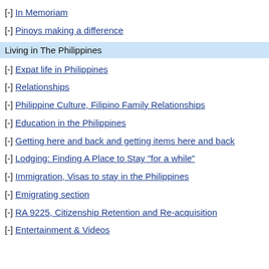[-] In Memoriam
[-] Pinoys making a difference
Living in The Philippines
[-] Expat life in Philippines
[-] Relationships
[-] Philippine Culture, Filipino Family Relationships
[-] Education in the Philippines
[-] Getting here and back and getting items here and back
[-] Lodging: Finding A Place to Stay "for a while"
[-] Immigration, Visas to stay in the Philippines
[-] Emigrating section
[-] RA 9225, Citizenship Retention and Re-acquisition
[-] Entertainment & Videos